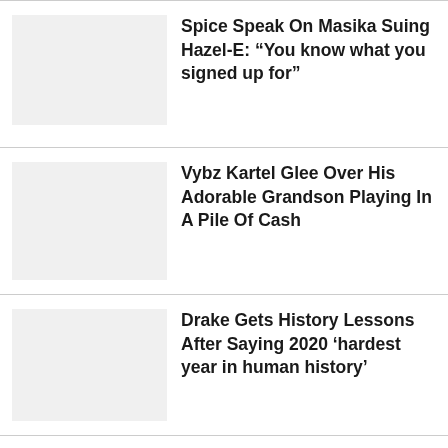Spice Speak On Masika Suing Hazel-E: “You know what you signed up for”
Vybz Kartel Glee Over His Adorable Grandson Playing In A Pile Of Cash
Drake Gets History Lessons After Saying 2020 ‘hardest year in human history’
Kanye West Takes Jab At Kid Cudi and Adidas CEO With Fake Headline